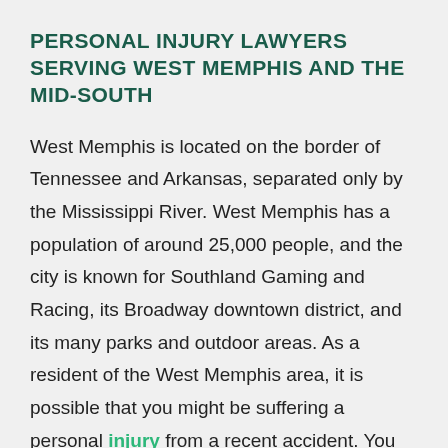PERSONAL INJURY LAWYERS SERVING WEST MEMPHIS AND THE MID-SOUTH
West Memphis is located on the border of Tennessee and Arkansas, separated only by the Mississippi River. West Memphis has a population of around 25,000 people, and the city is known for Southland Gaming and Racing, its Broadway downtown district, and its many parks and outdoor areas. As a resident of the West Memphis area, it is possible that you might be suffering a personal injury from a recent accident. You may also have a medical condition that has rendered you unable to work. Many personal injuries can be